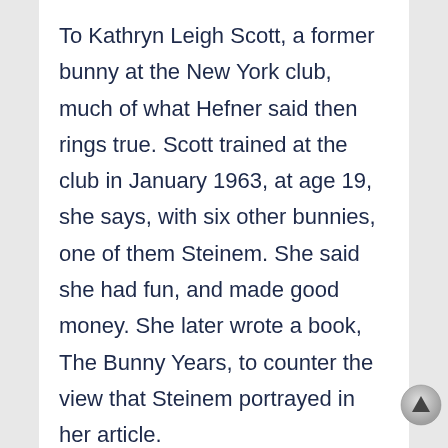To Kathryn Leigh Scott, a former bunny at the New York club, much of what Hefner said then rings true. Scott trained at the club in January 1963, at age 19, she says, with six other bunnies, one of them Steinem. She said she had fun, and made good money. She later wrote a book, The Bunny Years, to counter the view that Steinem portrayed in her article.
“I did not feel exploited,” Scott says now. “As a matter of fact, I felt that I was exploiting Playboy… because I